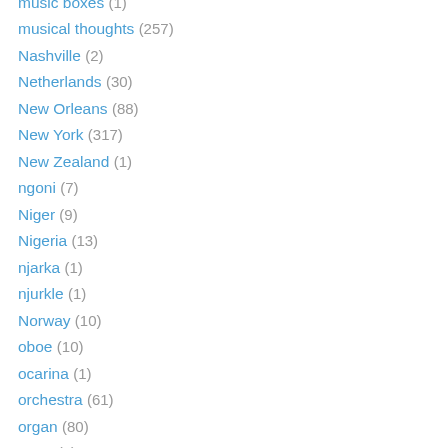music boxes (1)
musical thoughts (257)
Nashville (2)
Netherlands (30)
New Orleans (88)
New York (317)
New Zealand (1)
ngoni (7)
Niger (9)
Nigeria (13)
njarka (1)
njurkle (1)
Norway (10)
oboe (10)
ocarina (1)
orchestra (61)
organ (80)
orutu (2)
oud (4)
Pakistan (1)